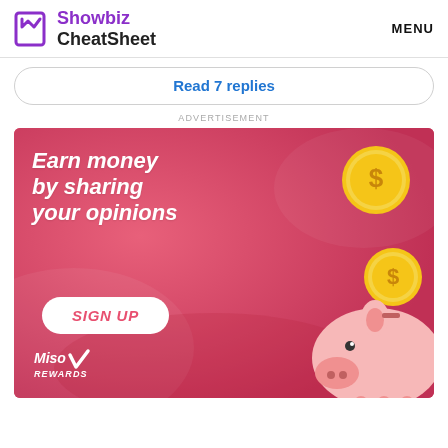Showbiz CheatSheet  MENU
Read 7 replies
ADVERTISEMENT
[Figure (illustration): Advertisement for Miso Rewards: pink background with piggy bank illustration and gold coins, text 'Earn money by sharing your opinions', SIGN UP button, Miso Rewards logo]